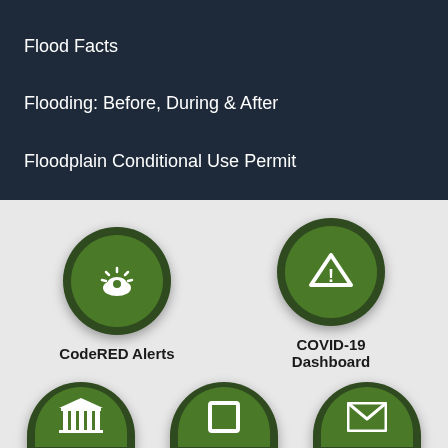Flood Facts
Flooding: Before, During & After
Floodplain Conditional Use Permit
[Figure (screenshot): Government app screenshot showing navigation menu items and icon buttons for CodeRED Alerts, COVID-19 Dashboard, and three partially visible bottom icons (building/courthouse, document, envelope)]